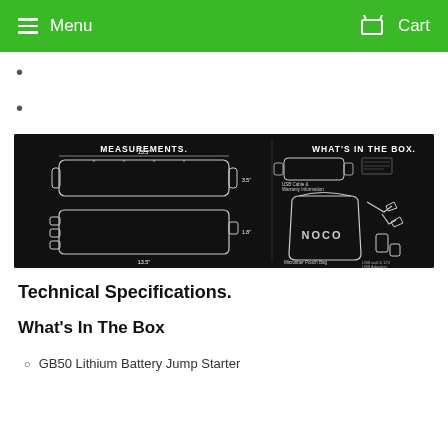Menu   Cart
[Figure (engineering-diagram): Engineering diagram showing MEASUREMENTS of a GB50 Lithium Battery Jump Starter (top and side views with dimensions) and WHAT'S IN THE BOX (jump starter unit, carry bag, jumper cables/clamps, USB cable and accessories listed).]
Technical Specifications.
What's In The Box
GB50 Lithium Battery Jump Starter